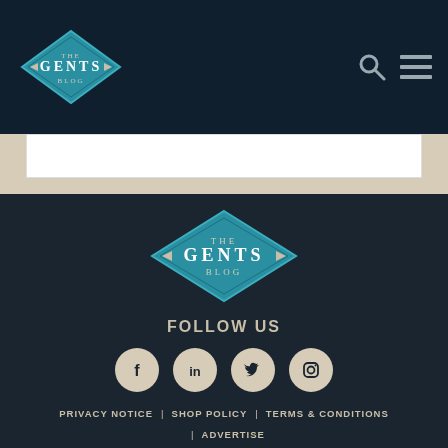The Gents Blog
[Figure (logo): The Gents Blog diamond logo in footer]
FOLLOW US
[Figure (infographic): Social media icons: Facebook, LinkedIn, Twitter, Instagram]
PRIVACY NOTICE | SHOP POLICY | TERMS & CONDITIONS | ADVERTISE